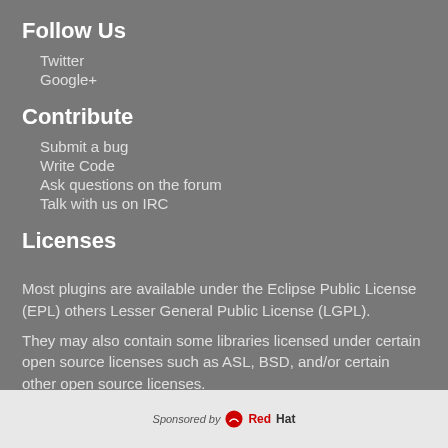Follow Us
Twitter
Google+
Contribute
Submit a bug
Write Code
Ask questions on the forum
Talk with us on IRC
Licenses
Most plugins are available under the Eclipse Public License (EPL) others Lesser General Public License (LGPL).
They may also contain some libraries licensed under certain open source licenses such as ASL, BSD, and/or certain other open source licenses.
Sponsored by Red Hat